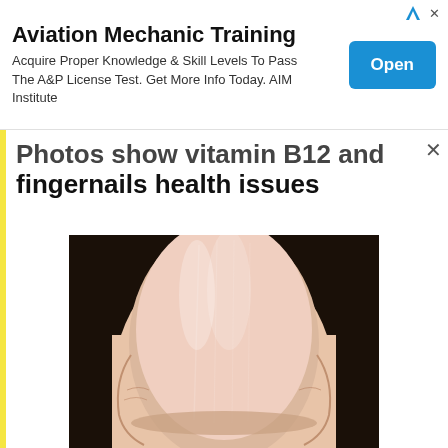[Figure (screenshot): Advertisement banner for Aviation Mechanic Training by AIM Institute with a blue 'Open' button]
Photos show vitamin B12 and fingernails health issues
[Figure (photo): Close-up macro photograph of a human fingernail showing pale pinkish nail with slight ridges on dark background]